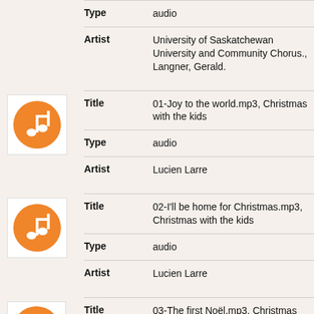| Field | Value |
| --- | --- |
| Type | audio |
| Artist | University of Saskatchewan University and Community Chorus., Langner, Gerald. |
[Figure (illustration): Orange circle music note icon in white box]
| Field | Value |
| --- | --- |
| Title | 01-Joy to the world.mp3, Christmas with the kids |
| Type | audio |
| Artist | Lucien Larre |
[Figure (illustration): Orange circle music note icon in white box]
| Field | Value |
| --- | --- |
| Title | 02-I'll be home for Christmas.mp3, Christmas with the kids |
| Type | audio |
| Artist | Lucien Larre |
[Figure (illustration): Orange circle music note icon (partial, cropped at bottom)]
| Field | Value |
| --- | --- |
| Title | 03-The first Noël.mp3, Christmas... |